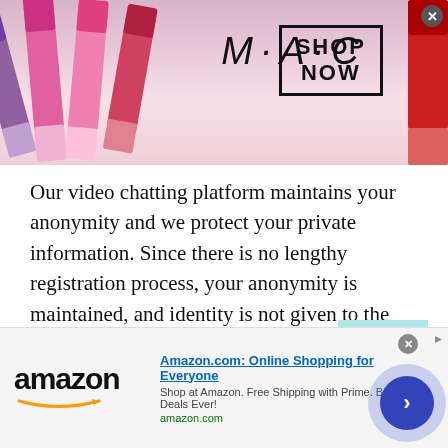[Figure (advertisement): MAC cosmetics advertisement banner showing colorful lipsticks on the left, MAC logo in the center, and a 'SHOP NOW' button box on the right with a red lipstick on the far right edge.]
Our video chatting platform maintains your anonymity and we protect your private information. Since there is no lengthy registration process, your anonymity is maintained, and identity is not given to the stranger you are chatting with. This makes Nigerian Meet New People through our site much more secure compared to other platforms.
We prioritize safety and security and take every measure to secure our users from any invaders of hackers. We have
[Figure (advertisement): Amazon.com online advertisement banner at the bottom. Shows Amazon logo with smile, title 'Amazon.com: Online Shopping for Everyone', description 'Shop at Amazon. Free Shipping with Prime. Best Deals Ever!', URL 'amazon.com', and a blue circular chevron/arrow button on the right.]